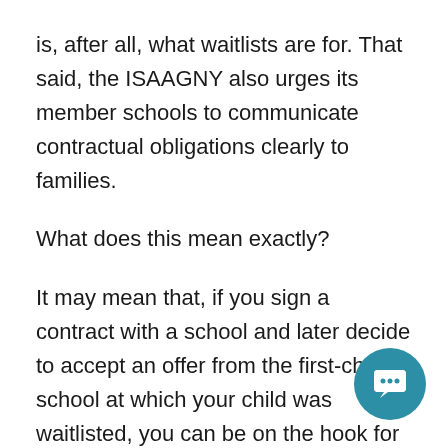is, after all, what waitlists are for. That said, the ISAAGNY also urges its member schools to communicate contractual obligations clearly to families.
What does this mean exactly?
It may mean that, if you sign a contract with a school and later decide to accept an offer from the first-choice school at which your child was waitlisted, you can be on the hook for part or all of the tuition at both schools for the first year. Parents are urged to read the fine print of each contract carefully to understand what they're committing to. Schools may opt to release